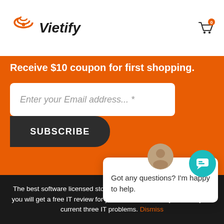Vietify
Receive $10 coupon for first shopping.
Enter your Email address... *
SUBSCRIBE
Business registration approved by Da Nang Investment date: 03/09/2019
Got any questions? I'm happy to help.
The best software licensed store online in Vietnam. Order from us, you will get a free IT review for your business in 7 days and fix your current three IT problems. Dismiss